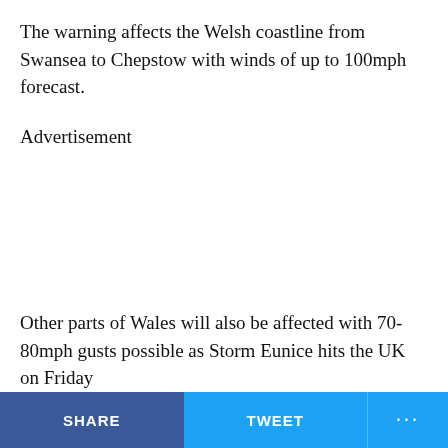The warning affects the Welsh coastline from Swansea to Chepstow with winds of up to 100mph forecast.
Advertisement
Other parts of Wales will also be affected with 70-80mph gusts possible as Storm Eunice hits the UK on Friday
SHARE   TWEET   ...